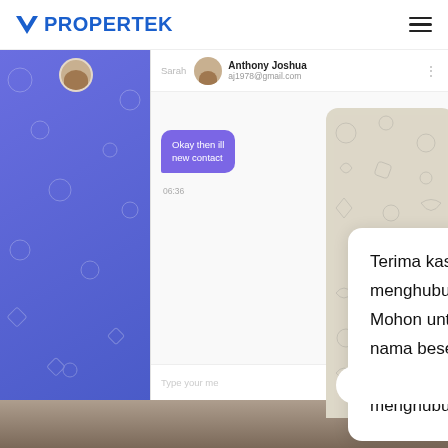[Figure (screenshot): Propertek website screenshot showing a chat interface with a popup WhatsApp-style message in Indonesian. The header shows the Propertek logo and hamburger menu. The main content shows a chat UI with Anthony Joshua's profile, a purple chat bubble, and a white message card reading 'Terima kasih telah menghubungi Propertek. Mohon untuk menuliskan nama beserta pertanyaan. Tim Propertek akan segera menghubungi Anda.' with a green send button and input field at the bottom.]